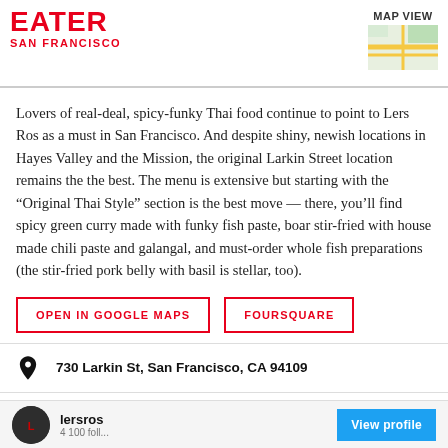EATER SAN FRANCISCO
Lovers of real-deal, spicy-funky Thai food continue to point to Lers Ros as a must in San Francisco. And despite shiny, newish locations in Hayes Valley and the Mission, the original Larkin Street location remains the the best. The menu is extensive but starting with the “Original Thai Style” section is the best move — there, you’ll find spicy green curry made with funky fish paste, boar stir-fried with house made chili paste and galangal, and must-order whole fish preparations (the stir-fried pork belly with basil is stellar, too).
OPEN IN GOOGLE MAPS
FOURSQUARE
730 Larkin St, San Francisco, CA 94109
(415) 931-6917
Visit Website
lersros